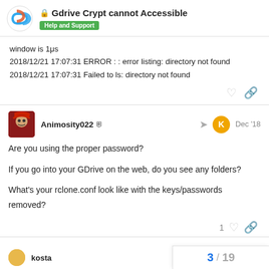Gdrive Crypt cannot Accessible — Help and Support
window is 1μs
2018/12/21 17:07:31 ERROR : : error listing: directory not found
2018/12/21 17:07:31 Failed to ls: directory not found
Animosity022 — Dec '18
Are you using the proper password?
If you go into your GDrive on the web, do you see any folders?
What's your rclone.conf look like with the keys/passwords removed?
kosta